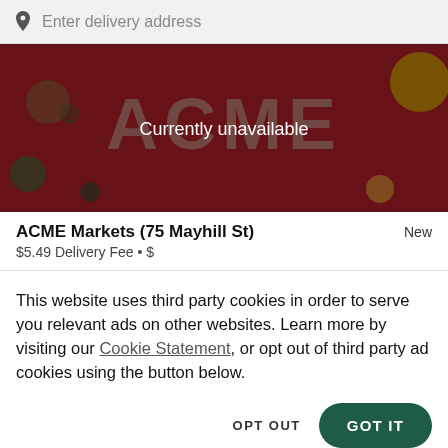Enter delivery address
[Figure (illustration): ACME Markets banner image with red background and large ACME logo text. A dark overlay renders it semi-transparent. Text overlay reads 'Currently unavailable'.]
ACME Markets (75 Mayhill St)
$5.49 Delivery Fee • $
This website uses third party cookies in order to serve you relevant ads on other websites. Learn more by visiting our Cookie Statement, or opt out of third party ad cookies using the button below.
OPT OUT
GOT IT